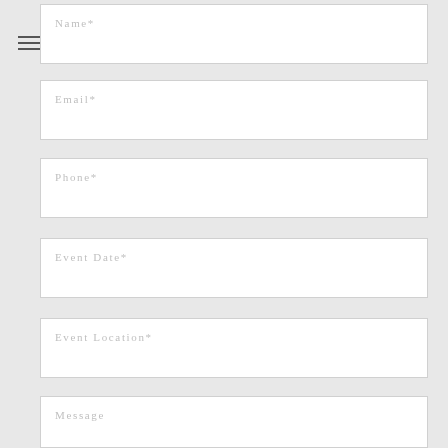[Figure (other): Hamburger menu icon (three horizontal lines)]
Name*
Email*
Phone*
Event Date*
Event Location*
Message